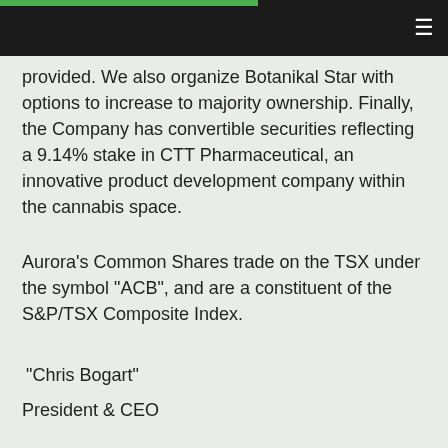provided. We also organize Botanikal Star with options to increase to majority ownership. Finally, the Company has convertible securities reflecting a 9.14% stake in CTT Pharmaceutical, an innovative product development company within the cannabis space.
Aurora's Common Shares trade on the TSX under the symbol "ACB", and are a constituent of the S&P/TSX Composite Index.
"Chris Bogart"
President & CEO